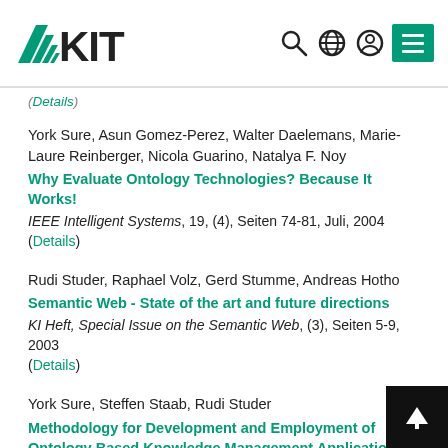KIT logo and navigation icons
(Details)
York Sure, Asun Gomez-Perez, Walter Daelemans, Marie-Laure Reinberger, Nicola Guarino, Natalya F. Noy
Why Evaluate Ontology Technologies? Because It Works!
IEEE Intelligent Systems, 19, (4), Seiten 74-81, Juli, 2004
(Details)
Rudi Studer, Raphael Volz, Gerd Stumme, Andreas Hotho
Semantic Web - State of the art and future directions
KI Heft, Special Issue on the Semantic Web, (3), Seiten 5-9, 2003
(Details)
York Sure, Steffen Staab, Rudi Studer
Methodology for Development and Employment of Ontology Based Knowledge Management Applications